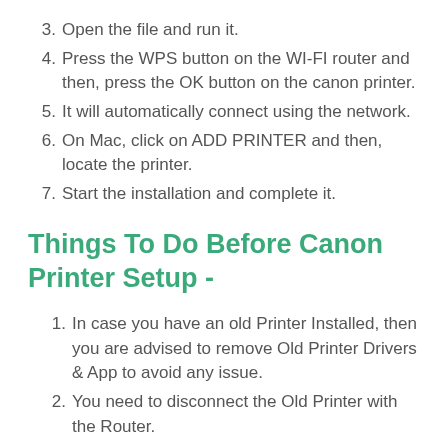3. Open the file and run it.
4. Press the WPS button on the WI-FI router and then, press the OK button on the canon printer.
5. It will automatically connect using the network.
6. On Mac, click on ADD PRINTER and then, locate the printer.
7. Start the installation and complete it.
Things To Do Before Canon Printer Setup -
1. In case you have an old Printer Installed, then you are advised to remove Old Printer Drivers & App to avoid any issue.
2. You need to disconnect the Old Printer with the Router.
3. Restart the PC & Router to Refresh its latest settings.